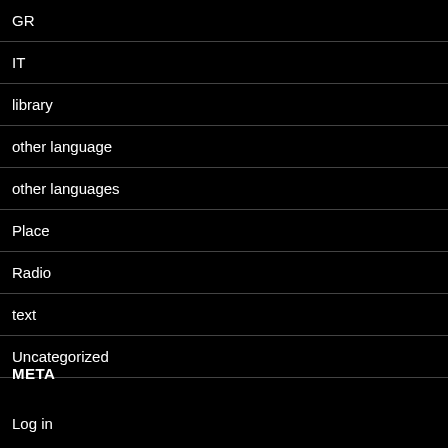GR
IT
library
other language
other languages
Place
Radio
text
Uncategorized
META
Log in